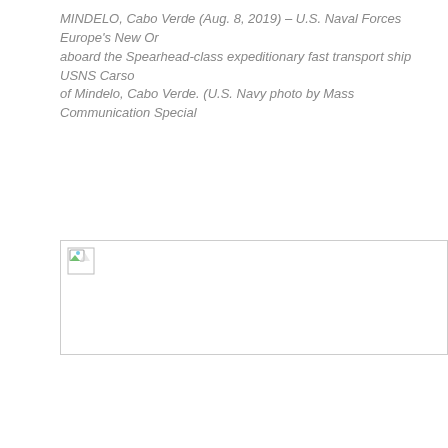MINDELO, Cabo Verde (Aug. 8, 2019) – U.S. Naval Forces Europe's New Or aboard the Spearhead-class expeditionary fast transport ship USNS Carso of Mindelo, Cabo Verde. (U.S. Navy photo by Mass Communication Special
[Figure (photo): A partially loaded or broken image placeholder with a small broken-image icon in the top-left corner, outlined with a thin gray border. The image content is not visible.]